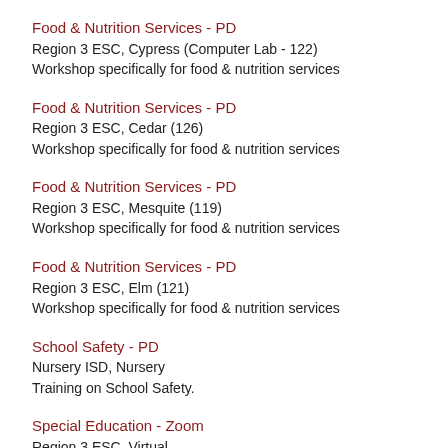Food & Nutrition Services - PD
Region 3 ESC, Cypress (Computer Lab - 122)
Workshop specifically for food & nutrition services
Food & Nutrition Services - PD
Region 3 ESC, Cedar (126)
Workshop specifically for food & nutrition services
Food & Nutrition Services - PD
Region 3 ESC, Mesquite (119)
Workshop specifically for food & nutrition services
Food & Nutrition Services - PD
Region 3 ESC, Elm (121)
Workshop specifically for food & nutrition services
School Safety - PD
Nursery ISD, Nursery
Training on School Safety.
Special Education - Zoom
Region 3 ESC, Virtual